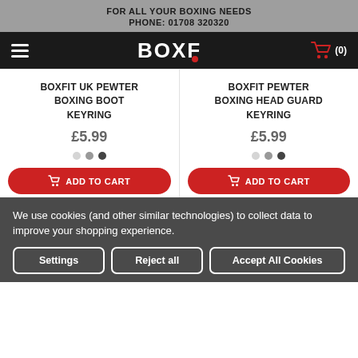FOR ALL YOUR BOXING NEEDS
PHONE: 01708 320320
[Figure (logo): BoxFit logo — white bold condensed text on black nav bar with hamburger menu left and red shopping cart with (0) right]
BOXFIT UK PEWTER BOXING BOOT KEYRING
£5.99
BOXFIT PEWTER BOXING HEAD GUARD KEYRING
£5.99
We use cookies (and other similar technologies) to collect data to improve your shopping experience.
Settings
Reject all
Accept All Cookies